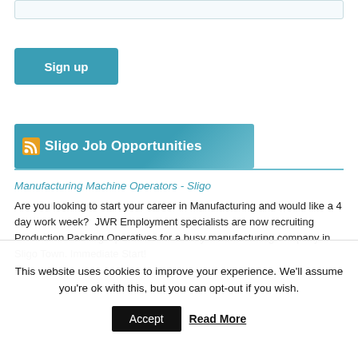[Figure (other): Input field / text box at top of page]
Sign up
Sligo Job Opportunities
Manufacturing Machine Operators - Sligo
Are you looking to start your career in Manufacturing and would like a 4 day work week?  JWR Employment specialists are now recruiting Production Packing Operatives for a busy manufacturing company in Sligo Town. Immediate Start!
This website uses cookies to improve your experience. We'll assume you're ok with this, but you can opt-out if you wish.
Accept
Read More